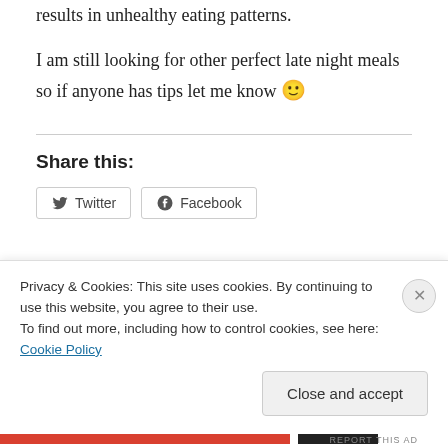results in unhealthy eating patterns.
I am still looking for other perfect late night meals so if anyone has tips let me know 🙂
Share this:
Privacy & Cookies: This site uses cookies. By continuing to use this website, you agree to their use.
To find out more, including how to control cookies, see here: Cookie Policy
Close and accept